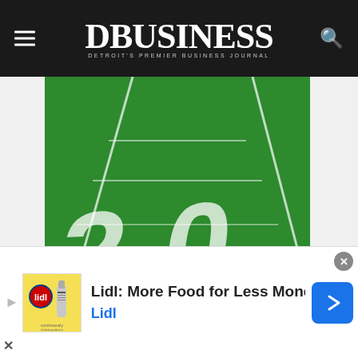DBusiness — Detroit's Premier Business Journal
[Figure (illustration): Advertisement for First Merchants Bank on DBusiness website. Green football field background with yard line numbers, text reads 'Helping businesses & people: YourFinancialGOAT.com'. Gold bottom bar with First Merchants Bank logo and tagline 'Helping you prosper'.]
[Figure (illustration): Lidl advertisement banner: 'Lidl: More Food for Less Money' with Lidl logo and brand name, navigation arrow icon on right.]